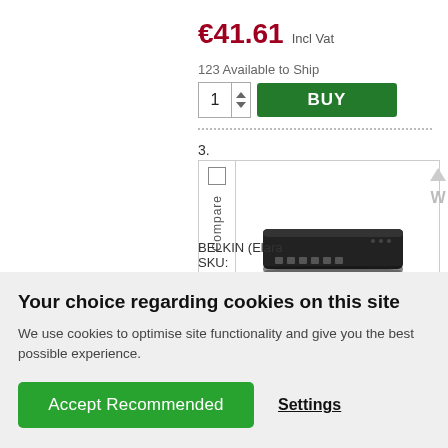€41.61 Incl Vat
123 Available to Ship
1 BUY
3.
[Figure (photo): Photo of a black Belkin network device/switch, flat and rectangular]
BELKIN (Elara
SKU:
Your choice regarding cookies on this site
We use cookies to optimise site functionality and give you the best possible experience.
Accept Recommended
Settings